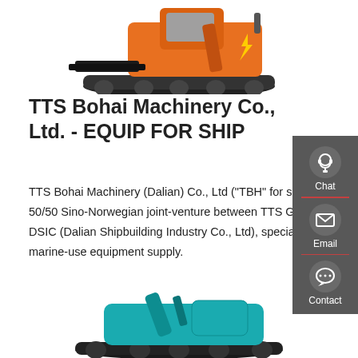[Figure (photo): Orange tracked construction machine / bulldozer, top portion cropped, viewed from front-right]
TTS Bohai Machinery Co., Ltd. - EQUIP FOR SHIP
TTS Bohai Machinery (Dalian) Co., Ltd ("TBH" for short) is a 50/50 Sino-Norwegian joint-venture between TTS Group and DSIC (Dalian Shipbuilding Industry Co., Ltd), specializing in marine-use equipment supply.
Get a quote
[Figure (photo): Teal/turquoise tracked excavator or crawler machine, bottom portion cropped]